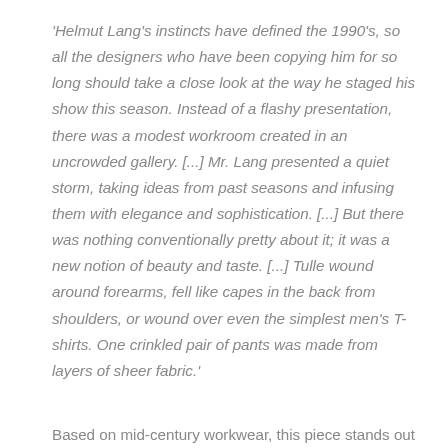'Helmut Lang's instincts have defined the 1990's, so all the designers who have been copying him for so long should take a close look at the way he staged his show this season. Instead of a flashy presentation, there was a modest workroom created in an uncrowded gallery. [...] Mr. Lang presented a quiet storm, taking ideas from past seasons and infusing them with elegance and sophistication. [...] But there was nothing conventionally pretty about it; it was a new notion of beauty and taste. [...] Tulle wound around forearms, fell like capes in the back from shoulders, or wound over even the simplest men's T-shirts. One crinkled pair of pants was made from layers of sheer fabric.'
Based on mid-century workwear, this piece stands out